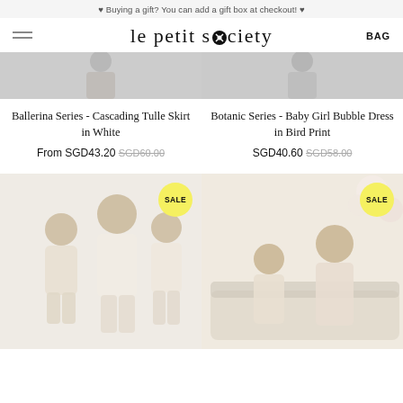♥ Buying a gift? You can add a gift box at checkout! ♥
le petit society
BAG
[Figure (photo): Partial product image top - Ballerina Series skirt in white, cropped]
Ballerina Series - Cascading Tulle Skirt in White
From SGD43.20 SGD60.00
[Figure (photo): Partial product image top - Botanic Series Baby Girl Bubble Dress in Bird Print, cropped]
Botanic Series - Baby Girl Bubble Dress in Bird Print
SGD40.60 SGD58.00
[Figure (photo): SALE - Mother and two daughters wearing matching floral outfits against light background]
[Figure (photo): SALE - Mother and daughter sitting on white sofa in matching floral dresses with flower decorations in background]